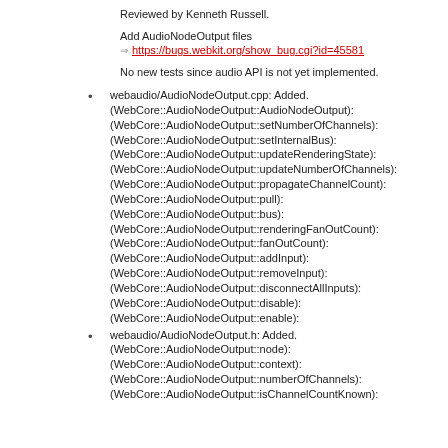Reviewed by Kenneth Russell.
Add AudioNodeOutput files
https://bugs.webkit.org/show_bug.cgi?id=45581
No new tests since audio API is not yet implemented.
webaudio/AudioNodeOutput.cpp: Added. (WebCore::AudioNodeOutput::AudioNodeOutput): (WebCore::AudioNodeOutput::setNumberOfChannels): (WebCore::AudioNodeOutput::setInternalBus): (WebCore::AudioNodeOutput::updateRenderingState): (WebCore::AudioNodeOutput::updateNumberOfChannels): (WebCore::AudioNodeOutput::propagateChannelCount): (WebCore::AudioNodeOutput::pull): (WebCore::AudioNodeOutput::bus): (WebCore::AudioNodeOutput::renderingFanOutCount): (WebCore::AudioNodeOutput::fanOutCount): (WebCore::AudioNodeOutput::addInput): (WebCore::AudioNodeOutput::removeInput): (WebCore::AudioNodeOutput::disconnectAllInputs): (WebCore::AudioNodeOutput::disable): (WebCore::AudioNodeOutput::enable):
webaudio/AudioNodeOutput.h: Added. (WebCore::AudioNodeOutput::node): (WebCore::AudioNodeOutput::context): (WebCore::AudioNodeOutput::numberOfChannels): (WebCore::AudioNodeOutput::isChannelCountKnown):